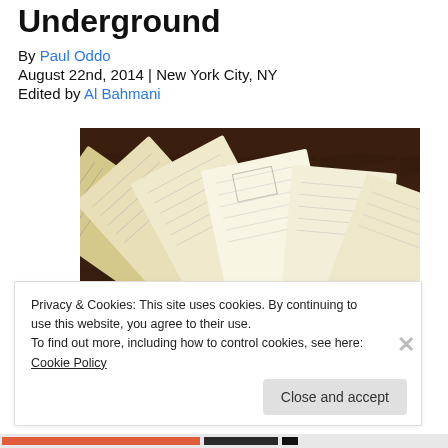Underground
By Paul Oddo
August 22nd, 2014 | New York City, NY
Edited by Al Bahmani
[Figure (photo): A fan of old handwritten documents or letters spread out on a dark wooden surface]
Privacy & Cookies: This site uses cookies. By continuing to use this website, you agree to their use.
To find out more, including how to control cookies, see here: Cookie Policy
Close and accept